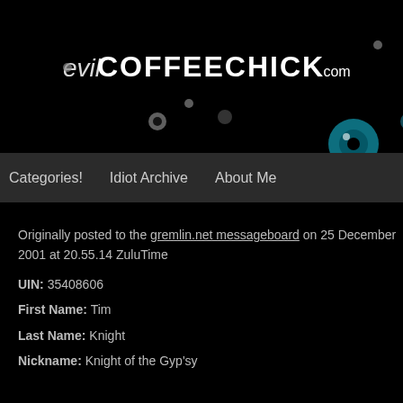[Figure (illustration): EvilCoffeeChick.com website header banner on black background with logo text and decorative floating eyeball graphics in various colors (green, teal, red, gray, white)]
Categories!   Idiot Archive   About Me
Originally posted to the gremlin.net messageboard on 25 December 2001 at 20.55.14 ZuluTime
UIN: 35408606
First Name: Tim
Last Name: Knight
Nickname: Knight of the Gyp'sy
City: Colorado Springs
State: CO
Phone: "Ask Me"
Oddly enough....